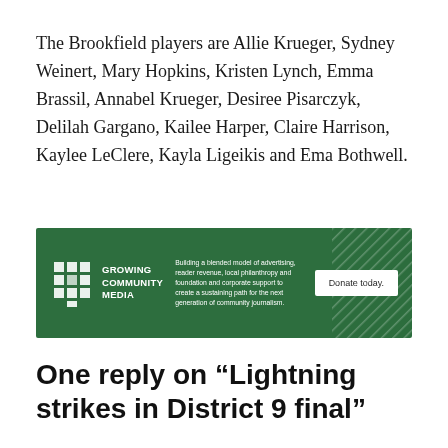The Brookfield players are Allie Krueger, Sydney Weinert, Mary Hopkins, Kristen Lynch, Emma Brassil, Annabel Krueger, Desiree Pisarczyk, Delilah Gargano, Kailee Harper, Claire Harrison, Kaylee LeClere, Kayla Ligeikis and Ema Bothwell.
[Figure (other): Growing Community Media advertisement banner with green background. Logo shows a tree icon and 'Growing Community Media' text. Middle text reads: 'Building a blended model of advertising, reader revenue, local philanthropy and foundation and corporate support to create a sustaining path for the next generation of community journalism.' Right side has a white 'Donate today.' button.]
One reply on “Lightning strikes in District 9 final”